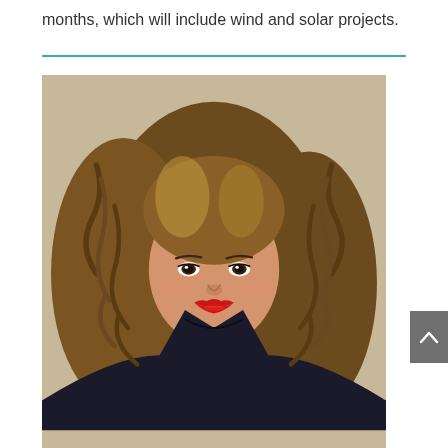months, which will include wind and solar projects.
[Figure (photo): Professional headshot of a woman with curly brown hair, red lipstick, wearing a black top, against a beige/tan background.]